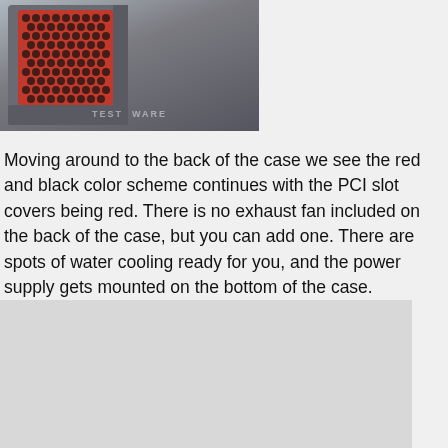[Figure (photo): Photo of the back of a computer case showing red PCI slot covers with a honeycomb/mesh grill pattern, watermark reading TESTCOMPWARE or similar]
Moving around to the back of the case we see the red and black color scheme continues with the PCI slot covers being red. There is no exhaust fan included on the back of the case, but you can add one. There are spots of water cooling ready for you, and the power supply gets mounted on the bottom of the case.
[Figure (photo): Partially visible photo at the bottom of the page, content not fully visible]